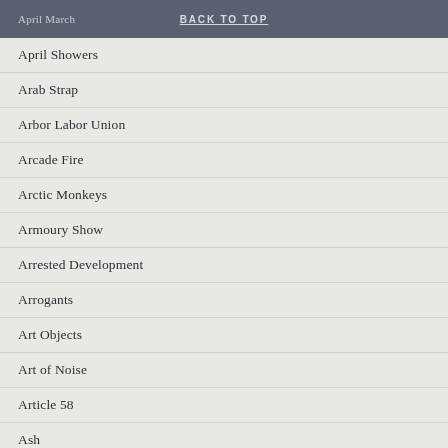April March | BACK TO TOP
April Showers
Arab Strap
Arbor Labor Union
Arcade Fire
Arctic Monkeys
Armoury Show
Arrested Development
Arrogants
Art Objects
Art of Noise
Article 58
Ash